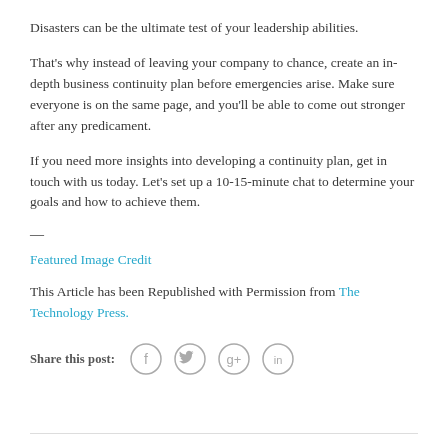Disasters can be the ultimate test of your leadership abilities.
That’s why instead of leaving your company to chance, create an in-depth business continuity plan before emergencies arise. Make sure everyone is on the same page, and you’ll be able to come out stronger after any predicament.
If you need more insights into developing a continuity plan, get in touch with us today. Let’s set up a 10-15-minute chat to determine your goals and how to achieve them.
—
Featured Image Credit
This Article has been Republished with Permission from The Technology Press.
Share this post: